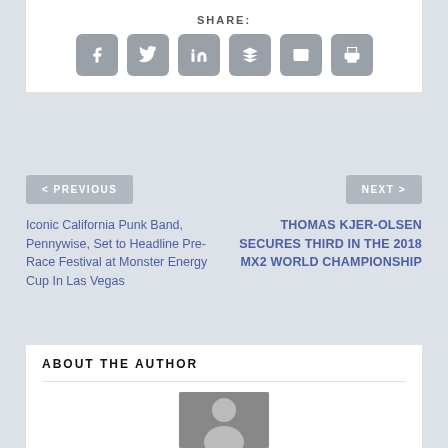SHARE:
[Figure (infographic): Social share icons: Facebook, Twitter, LinkedIn, Buffer, Email, Print]
< PREVIOUS
NEXT >
Iconic California Punk Band, Pennywise, Set to Headline Pre-Race Festival at Monster Energy Cup In Las Vegas
THOMAS KJER-OLSEN SECURES THIRD IN THE 2018 MX2 WORLD CHAMPIONSHIP
ABOUT THE AUTHOR